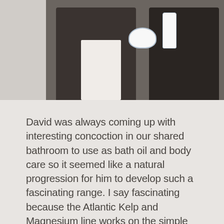[Figure (photo): Two people standing side by side, one in a white shirt with dark jacket, the other in dark clothing, both holding skincare product containers — a white jar and a white bottle with blue branding.]
David was always coming up with interesting concoction in our shared bathroom to use as bath oil and body care so it seemed like a natural progression for him to develop such a fascinating range. I say fascinating because the Atlantic Kelp and Magnesium line works on the simple ideas of detoxifying the cells in the body which in turn revitalize and re-